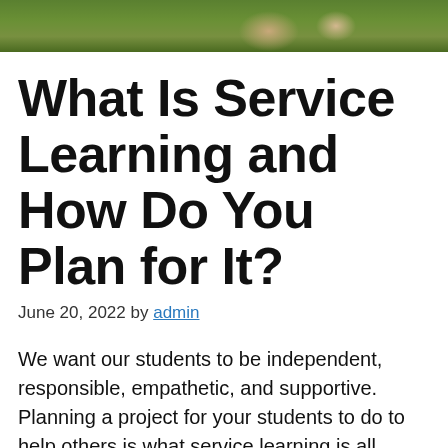[Figure (photo): Outdoor photo showing grass and people from above, cropped at top of page]
What Is Service Learning and How Do You Plan for It?
June 20, 2022 by admin
We want our students to be independent, responsible, empathetic, and supportive. Planning a project for your students to do to help others is what service learning is all about. One year I invited two homeless teenagers from a local program into my classroom to talk with my second graders